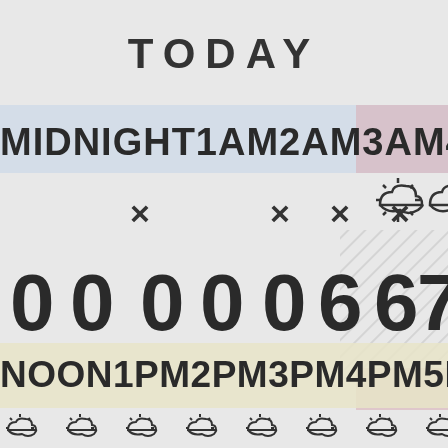TODAY
[Figure (infographic): Time-of-day infographic showing MIDNIGHT through 7AM scrolling text bar, X marks for hours, cloud/sun weather icons, digit display showing 0 0 0 0 0 6 6 7, NOON through 8PM scrolling text bar, and a row of cloud/sun weather icons at the bottom.]